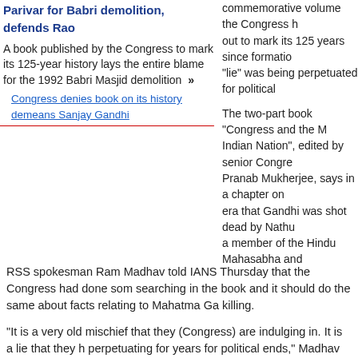Parivar for Babri demolition, defends Rao
A book published by the Congress to mark its 125-year history lays the entire blame for the 1992 Babri Masjid demolition »
Congress denies book on its history demeans Sanjay Gandhi
commemorative volume the Congress has out to mark its 125 years since formation "lie" was being perpetuated for political
The two-part book "Congress and the M Indian Nation", edited by senior Congre Pranab Mukherjee, says in a chapter on era that Gandhi was shot dead by Nathu a member of the Hindu Mahasabha and
RSS spokesman Ram Madhav told IANS Thursday that the Congress had done some searching in the book and it should do the same about facts relating to Mahatma Ga killing.
"It is a very old mischief that they (Congress) are indulging in. It is a lie that they h perpetuating for years for political ends," Madhav said.
Madhav said that Godse left RSS in mid-1930s. "To say that he was an RSS membe project a lie for political intentions," he said, adding that the organisation was being deliberately.
The RSS spokesman said that there were court judgments to prove "that RSS had n with Gandhiji's murder."
Asked if the RSS would take legal recourse on the issue, Madhav remained non-co
"We will see the publication and then decide," he said.